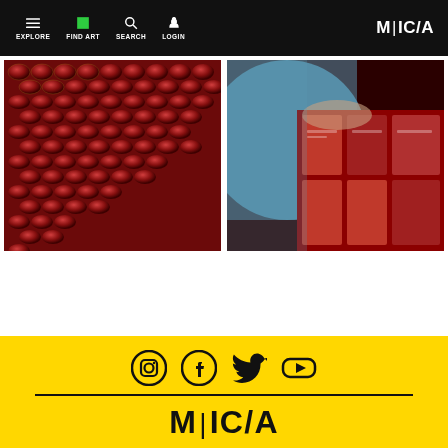EXPLORE | FIND ART | SEARCH | LOGIN | MICA
[Figure (photo): Left: aerial/close-up view of many red cans or objects arranged densely. Right: person in blue shirt handling red packaged items.]
Social media icons: Instagram, Facebook, Twitter, YouTube. MICA logo.